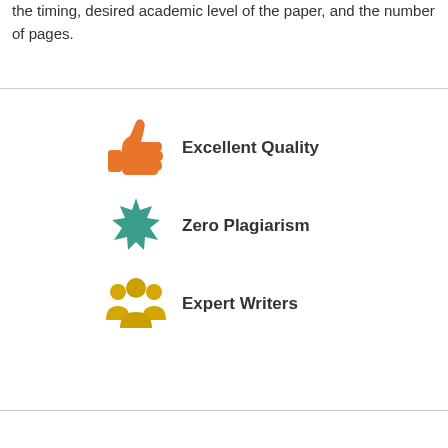the timing, desired academic level of the paper, and the number of pages.
[Figure (infographic): Three feature icons with labels: a thumbs-up orange icon for 'Excellent Quality', a teal starburst badge icon for 'Zero Plagiarism', and a yellow group-of-people icon for 'Expert Writers'.]
[Figure (infographic): Two call-to-action buttons: a red 'Order Now' button, the word 'or', and a blue 'Free Quote' button. A grey back-to-top arrow button is in the bottom right.]